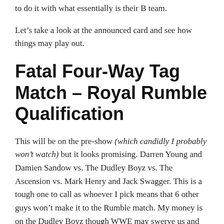to do it with what essentially is their B team.
Let’s take a look at the announced card and see how things may play out.
Fatal Four-Way Tag Match – Royal Rumble Qualification
This will be on the pre-show (which candidly I probably won’t watch) but it looks promising. Darren Young and Damien Sandow vs. The Dudley Boyz vs. The Ascension vs. Mark Henry and Jack Swagger. This is a tough one to call as whoever I pick means that 6 other guys won’t make it to the Rumble match. My money is on the Dudley Boyz though WWE may swerve us and put Young